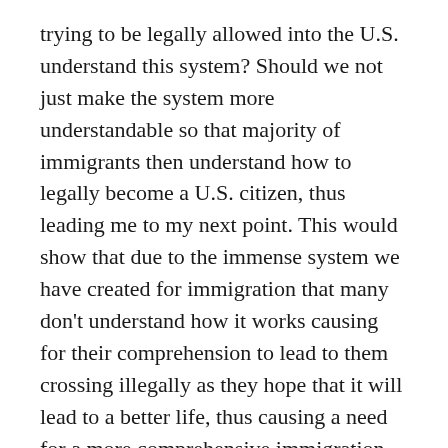trying to be legally allowed into the U.S. understand this system? Should we not just make the system more understandable so that majority of immigrants then understand how to legally become a U.S. citizen, thus leading me to my next point. This would show that due to the immense system we have created for immigration that many don't understand how it works causing for their comprehension to lead to them crossing illegally as they hope that it will lead to a better life, thus causing a need for a more comprehensive immigration system, that will lead to both security of borders and more legal immigrants.
The main causation of your seemingly major issue of illegal immigrants as I had once stated before is due to the confusion. This confusion causes for